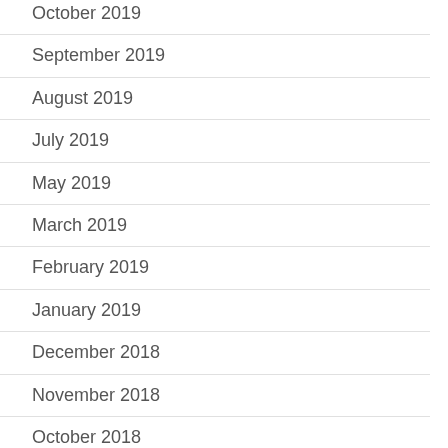October 2019
September 2019
August 2019
July 2019
May 2019
March 2019
February 2019
January 2019
December 2018
November 2018
October 2018